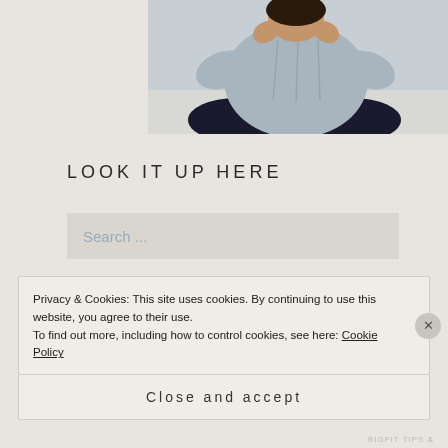[Figure (photo): Person sitting cross-legged wearing a grey knit cardigan, hands near face, against a light background]
LOOK IT UP HERE
Search ...
Privacy & Cookies: This site uses cookies. By continuing to use this website, you agree to their use.
To find out more, including how to control cookies, see here: Cookie Policy
Close and accept